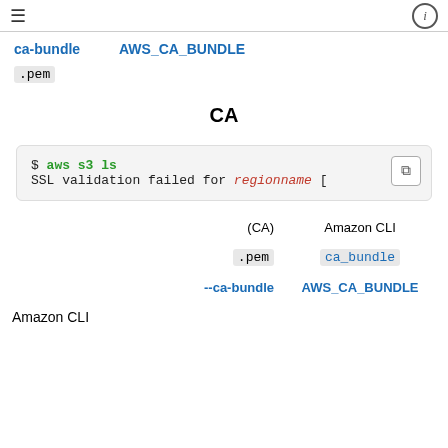≡   ⓘ
ca-bundle   AWS_CA_BUNDLE
.pem
CA
$ aws s3 ls
SSL validation failed for regionname [
(CA)   Amazon CLI
.pem   ca_bundle
--ca-bundle   AWS_CA_BUNDLE
Amazon CLI